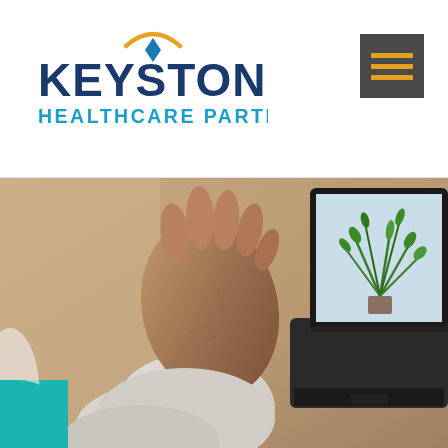[Figure (logo): Keystone Healthcare Partners logo with orange arc and blue diamond above text 'KEYSTONE HEALTHCARE PARTNERS']
[Figure (other): Hamburger menu icon — three horizontal orange lines on dark grey background]
[Figure (photo): Close-up photo of a person's raised hand (waving) in front of an open laptop showing a plant on screen, with teal accent shape in bottom-left corner]